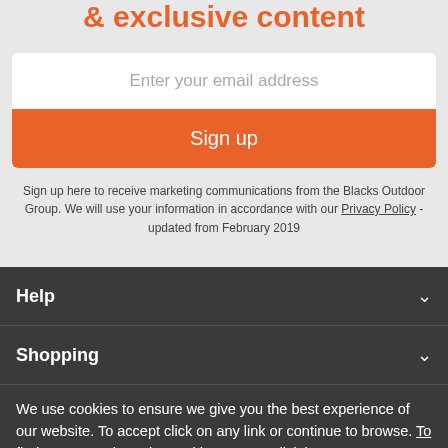& exclusive content
Enter your email address
Sign up
Sign up here to receive marketing communications from the Blacks Outdoor Group. We will use your information in accordance with our Privacy Policy - updated from February 2019
Help
Shopping
We use cookies to ensure we give you the best experience of our website. To accept click on any link or continue to browse. To find out more about the cookies we use click here.